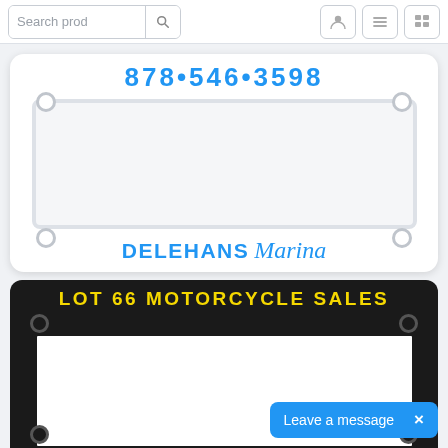[Figure (screenshot): Website navigation bar with search input labeled 'Search prod', a search icon button, and three icon buttons on the right (user, menu, grid).]
[Figure (illustration): White license plate frame with '878•546•3598' in blue at the top and 'DELEHANS Marina' in blue at the bottom, with four bolt holes.]
[Figure (illustration): Black license plate frame with 'LOT 66 MOTORCYCLE SALES' in yellow at the top, with four bolt holes.]
Leave a message  ×